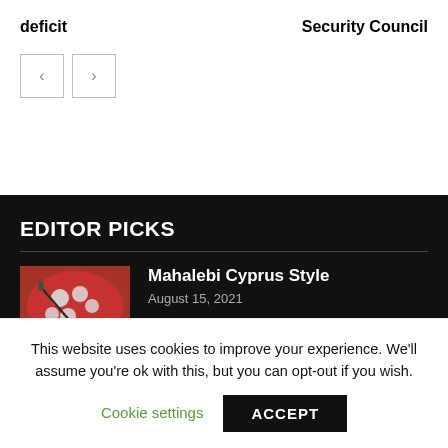deficit
Security Council
EDITOR PICKS
Mahalebi Cyprus Style
August 15, 2021
Baklavakia
This website uses cookies to improve your experience. We'll assume you're ok with this, but you can opt-out if you wish.
Cookie settings
ACCEPT